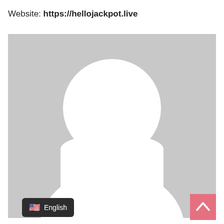Website: https://hellojackpot.live
[Figure (illustration): Default avatar placeholder image — grey background with white silhouette of a generic person (circle head and rounded torso/shoulders shape)]
🇺🇸 English
[Figure (other): Pink/salmon colored scroll-to-top button with upward chevron arrow]